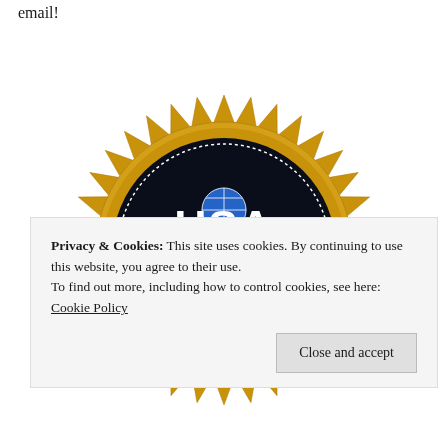email!
[Figure (logo): USA TODAY logo on a gold seal/badge with sunburst edges. The badge has a dark navy/black circular center with the USA TODAY globe logo and text 'USA TODAY' in white and blue lettering. The outer ring is gold with pointed sunburst spikes.]
Privacy & Cookies: This site uses cookies. By continuing to use this website, you agree to their use.
To find out more, including how to control cookies, see here: Cookie Policy
Close and accept